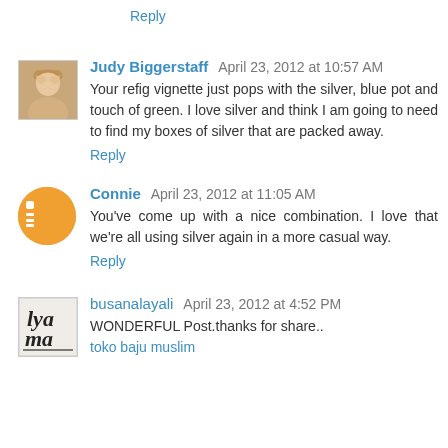Reply
Judy Biggerstaff  April 23, 2012 at 10:57 AM
Your refig vignette just pops with the silver, blue pot and touch of green. I love silver and think I am going to need to find my boxes of silver that are packed away.
Reply
Connie  April 23, 2012 at 11:05 AM
You've come up with a nice combination. I love that we're all using silver again in a more casual way.
Reply
busanalayali  April 23, 2012 at 4:52 PM
WONDERFUL Post.thanks for share.. toko baju muslim